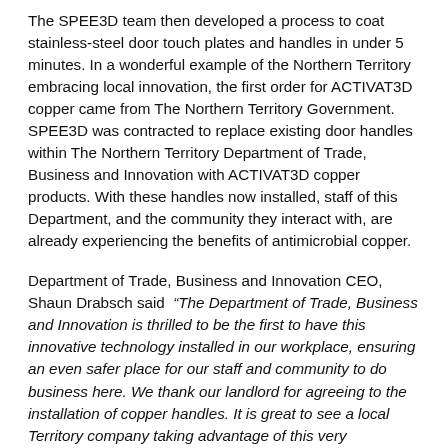The SPEE3D team then developed a process to coat stainless-steel door touch plates and handles in under 5 minutes. In a wonderful example of the Northern Territory embracing local innovation, the first order for ACTIVAT3D copper came from The Northern Territory Government. SPEE3D was contracted to replace existing door handles within The Northern Territory Department of Trade, Business and Innovation with ACTIVAT3D copper products. With these handles now installed, staff of this Department, and the community they interact with, are already experiencing the benefits of antimicrobial copper.
Department of Trade, Business and Innovation CEO, Shaun Drabsch said “The Department of Trade, Business and Innovation is thrilled to be the first to have this innovative technology installed in our workplace, ensuring an even safer place for our staff and community to do business here. We thank our landlord for agreeing to the installation of copper handles. It is great to see a local Territory company taking advantage of this very challenging time and drive a new innovative product that can further protect Territorians from COVID-19.”
The lab results have sparked global interest in this technology as Governments and private companies look for proactive ways to